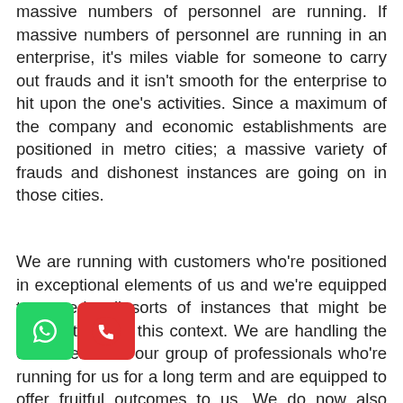massive numbers of personnel are running. If massive numbers of personnel are running in an enterprise, it's miles viable for someone to carry out frauds and it isn't smooth for the enterprise to hit upon the one's activities. Since a maximum of the company and economic establishments are positioned in metro cities; a massive variety of frauds and dishonest instances are going on in those cities.
We are running with customers who're positioned in exceptional elements of us and we're equipped to remedy all sorts of instances that might be associated with this context. We are handling the customers with our group of professionals who're running for us for a long term and are equipped to offer fruitful outcomes to us. We do now also get a handle on a time restriction for our customers and must decide the complexity of the case which we're going to remedy. However, we are able to
[Figure (other): WhatsApp icon button (green) and phone call icon button (red) overlaid on the bottom-left of the page]